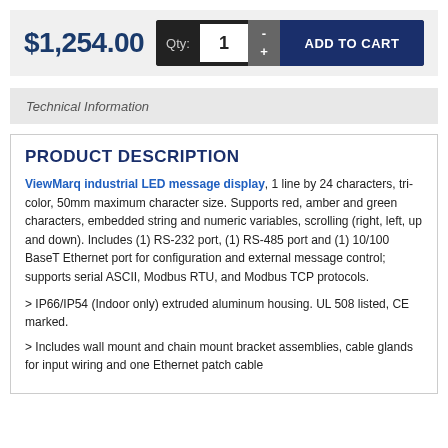$1,254.00
Qty: 1  -  +  ADD TO CART
Technical Information
PRODUCT DESCRIPTION
ViewMarq industrial LED message display, 1 line by 24 characters, tri-color, 50mm maximum character size. Supports red, amber and green characters, embedded string and numeric variables, scrolling (right, left, up and down). Includes (1) RS-232 port, (1) RS-485 port and (1) 10/100 BaseT Ethernet port for configuration and external message control; supports serial ASCII, Modbus RTU, and Modbus TCP protocols.
> IP66/IP54 (Indoor only) extruded aluminum housing. UL 508 listed, CE marked.
> Includes wall mount and chain mount bracket assemblies, cable glands for input wiring and one Ethernet patch cable